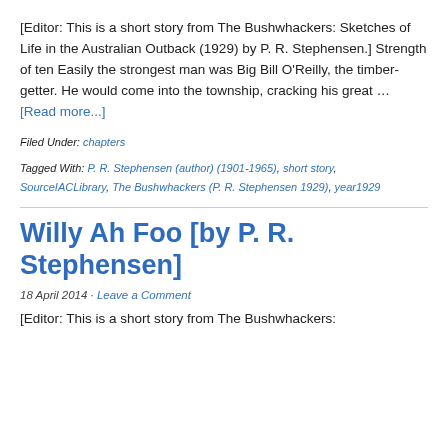[Editor: This is a short story from The Bushwhackers: Sketches of Life in the Australian Outback (1929) by P. R. Stephensen.] Strength of ten Easily the strongest man was Big Bill O'Reilly, the timber-getter. He would come into the township, cracking his great … [Read more...]
Filed Under: chapters
Tagged With: P. R. Stephensen (author) (1901-1965), short story, SourceIACLibrary, The Bushwhackers (P. R. Stephensen 1929), year1929
Willy Ah Foo [by P. R. Stephensen]
18 April 2014 · Leave a Comment
[Editor: This is a short story from The Bushwhackers: